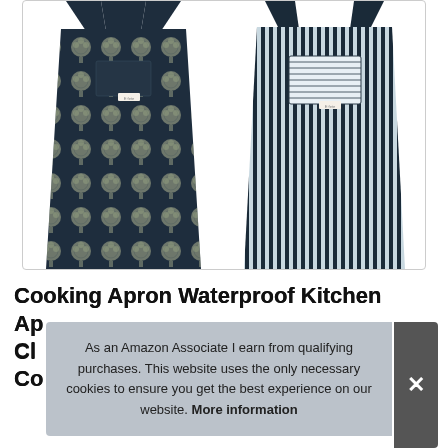[Figure (photo): Two kitchen aprons displayed side by side. Left apron has a dark navy background with white tree/floral pattern. Right apron has black and white vertical stripes with a chest pocket.]
Cooking Apron Waterproof Kitchen Apron ... Cle... Co...
As an Amazon Associate I earn from qualifying purchases. This website uses the only necessary cookies to ensure you get the best experience on our website. More information